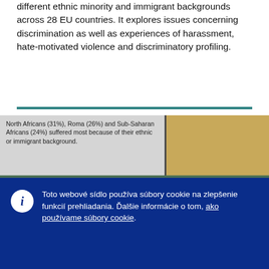different ethnic minority and immigrant backgrounds across 28 EU countries. It explores issues concerning discrimination as well as experiences of harassment, hate-motivated violence and discriminatory profiling.
[Figure (screenshot): Partial screenshot of a webpage showing text about North Africans (31%), Roma (26%) and Sub-Saharan Africans (24%) and a section header 'How common is discrimination?' with a green bar and decorative icon.]
Toto webové sídlo používa súbory cookie na zlepšenie funkcií prehliadania. Ďalšie informácie o tom, ako používame súbory cookie.
Prijať všetky súbory cookie
Prijať len základné súbory cookie